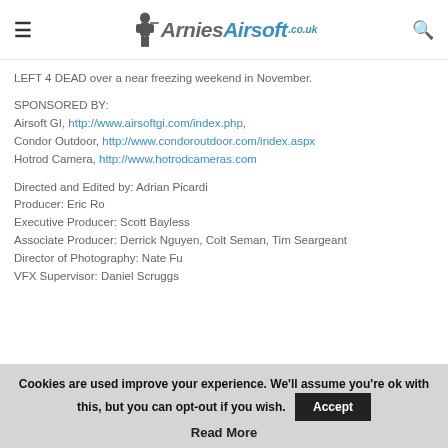ArniesAirsoft.co.uk
LEFT 4 DEAD over a near freezing weekend in November.
SPONSORED BY:
Airsoft GI, http://www.airsoftgi.com/index.php,
Condor Outdoor, http://www.condoroutdoor.com/index.aspx
Hotrod Camera, http://www.hotrodcameras.com
Directed and Edited by: Adrian Picardi
Producer: Eric Ro
Executive Producer: Scott Bayless
Associate Producer: Derrick Nguyen, Colt Seman, Tim Seargeant
Director of Photography: Nate Fu
VFX Supervisor: Daniel Scruggs
Cookies are used improve your experience. We'll assume you're ok with this, but you can opt-out if you wish. Accept
Read More